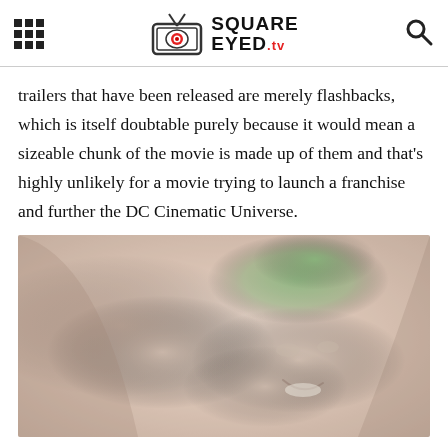SQUARE EYED .tv
trailers that have been released are merely flashbacks, which is itself doubtable purely because it would mean a sizeable chunk of the movie is made up of them and that's highly unlikely for a movie trying to launch a franchise and further the DC Cinematic Universe.
[Figure (photo): A close-up photo of a character with green hair (the Joker), smiling, with another figure visible behind/beside them. The image has a washed-out, pale color tone.]